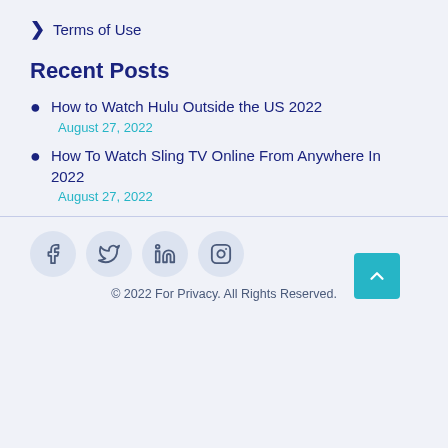❯ Terms of Use
Recent Posts
How to Watch Hulu Outside the US 2022
August 27, 2022
How To Watch Sling TV Online From Anywhere In 2022
August 27, 2022
© 2022 For Privacy. All Rights Reserved.